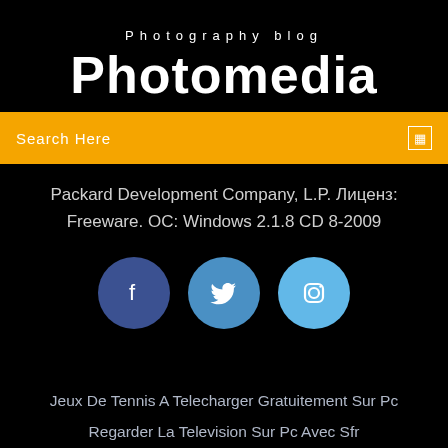Photography blog
Photomedia
Search Here
Packard Development Company, L.P. Лиценз: Freeware. ОС: Windows 2.1.8 CD 8-2009
[Figure (infographic): Three social media icon circles: Facebook (dark blue), Twitter (medium blue), Instagram (light blue)]
Jeux De Tennis A Telecharger Gratuitement Sur Pc
Regarder La Television Sur Pc Avec Sfr
Télécharger Viber Samsung Galaxy Tab?